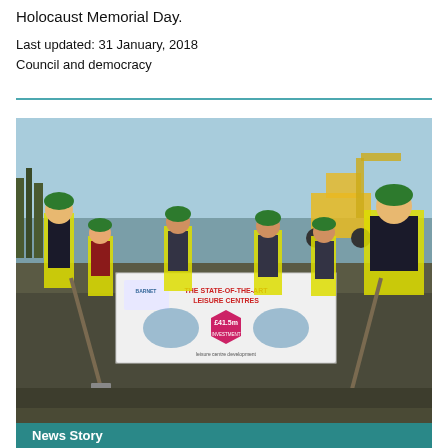Holocaust Memorial Day.
Last updated: 31 January, 2018
Council and democracy
[Figure (photo): Group of people wearing green hard hats and hi-vis vests holding shovels at a ground-breaking ceremony, standing in front of a banner reading 'THE STATE-OF-THE-ART LEISURE CENTRES' with a pink hexagon badge showing '£41.5m'. A yellow excavator is visible in the background.]
News Story